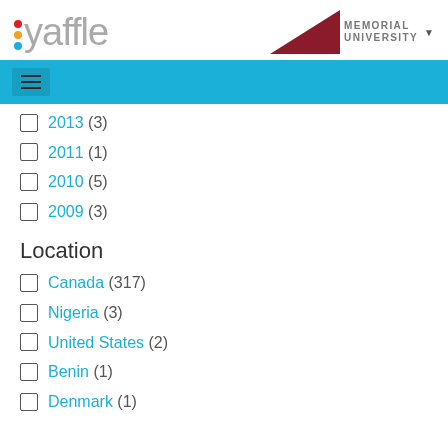[Figure (logo): Yaffle logo with colored dots (red, orange, blue) and grey text]
[Figure (logo): Memorial University logo with dark red triangular shape and grey uppercase text]
[Figure (other): Blue navigation bar with hamburger menu icon]
2013 (3)
2011 (1)
2010 (5)
2009 (3)
Location
Canada (317)
Nigeria (3)
United States (2)
Benin (1)
Denmark (1)